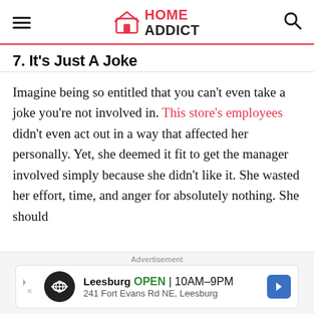HOME ADDICT
7. It's Just A Joke
Imagine being so entitled that you can't even take a joke you're not involved in. This store's employees didn't even act out in a way that affected her personally. Yet, she deemed it fit to get the manager involved simply because she didn't like it. She wasted her effort, time, and anger for absolutely nothing. She should
Advertisement — Leesburg OPEN 10AM–9PM 241 Fort Evans Rd NE, Leesburg